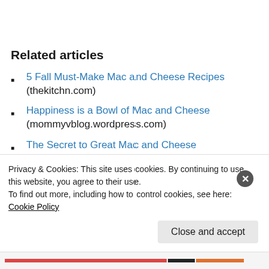Related articles
5 Fall Must-Make Mac and Cheese Recipes (thekitchn.com)
Happiness is a Bowl of Mac and Cheese (mommyvblog.wordpress.com)
The Secret to Great Mac and Cheese (jadedpenitentia85.wordpress.com)
Jalapeño Chicken Mac n Cheese
Privacy & Cookies: This site uses cookies. By continuing to use this website, you agree to their use.
To find out more, including how to control cookies, see here: Cookie Policy
Close and accept